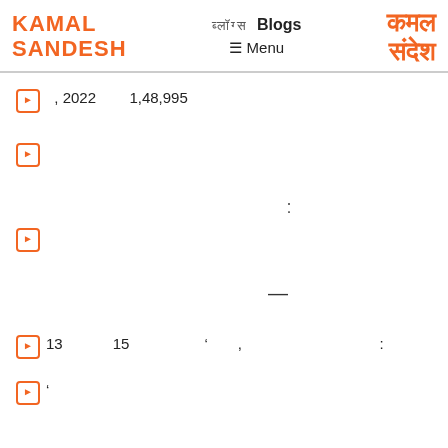KAMAL SANDESH | ब्लॉग्स Blogs ≡ Menu | कमल संदेश
▶  , 2022   1,48,995
▶
:
▶
—
▶ 13   15   '  ,   :
▶ '